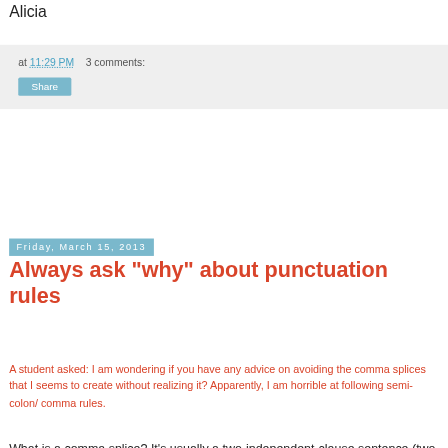Alicia
at 11:29 PM   3 comments:
Share
Friday, March 15, 2013
Always ask "why" about punctuation rules
A student asked: I am wondering if you have any advice on avoiding the comma splices that I seems to create without realizing it? Apparently, I am horrible at following semi-colon/ comma rules.
What is a comma splice? It's usually a two-independent-clause sentence (two subject-verbs) with just a comma connecting them. The question is, why is it an error just to have the comma?